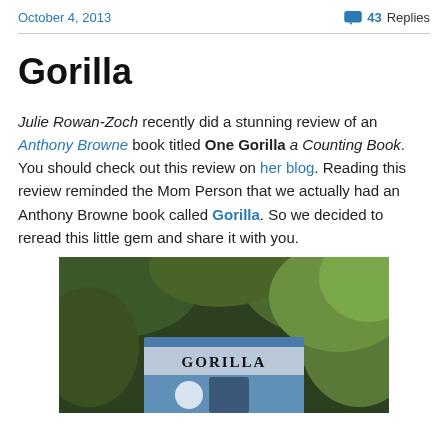October 4, 2013   43 Replies
Gorilla
Julie Rowan-Zoch recently did a stunning review of an Anthony Browne book titled One Gorilla a Counting Book. You should check out this review on her blog. Reading this review reminded the Mom Person that we actually had an Anthony Browne book called Gorilla. So we decided to reread this little gem and share it with you.
[Figure (photo): Photo of the book 'Gorilla' by Anthony Browne, shown against a green background. The book cover shows 'GORILLA' title and 'Anthony Browne' author name with an illustration.]